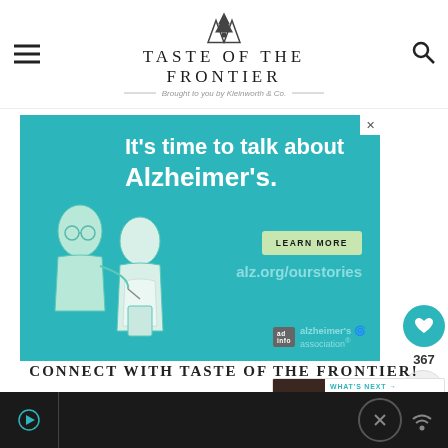TASTE OF THE FRONTIER — Brought to you by Kleinworth & Co.
[Figure (screenshot): Advertisement banner for Alzheimer's Association. Teal background with white text: 'It's time to talk about Alzheimer's.' with a 'LEARN MORE' button, 'alz.org/ourstories' URL, and illustration of two elderly people. Alzheimer's Association logo at bottom right.]
367
WHAT'S NEXT → Easy Family Recipes -...
CONNECT WITH TASTE OF THE FRONTIER!